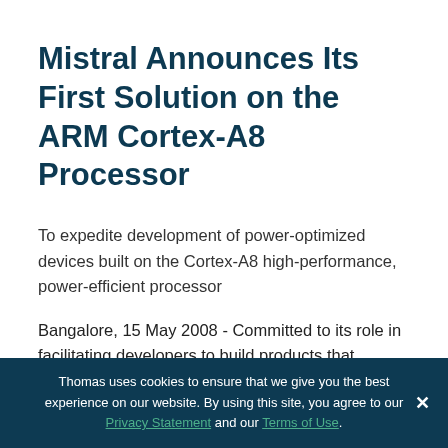Mistral Announces Its First Solution on the ARM Cortex-A8 Processor
To expedite development of power-optimized devices built on the Cortex-A8 high-performance, power-efficient processor
Bangalore, 15 May 2008 - Committed to its role in facilitating developers to build products that harness the latest technologies, Mistral, a leading product realization company
Thomas uses cookies to ensure that we give you the best experience on our website. By using this site, you agree to our Privacy Statement and our Terms of Use.